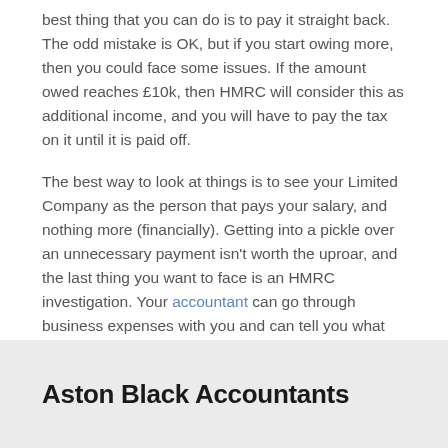best thing that you can do is to pay it straight back. The odd mistake is OK, but if you start owing more, then you could face some issues. If the amount owed reaches £10k, then HMRC will consider this as additional income, and you will have to pay the tax on it until it is paid off.
The best way to look at things is to see your Limited Company as the person that pays your salary, and nothing more (financially). Getting into a pickle over an unnecessary payment isn't worth the uproar, and the last thing you want to face is an HMRC investigation. Your accountant can go through business expenses with you and can tell you what HMRC will and will not accept. Starting a new business can be overwhelming, but it is all worth it! Take a look at our free e-book to kick-start your new business.
Aston Black Accountants